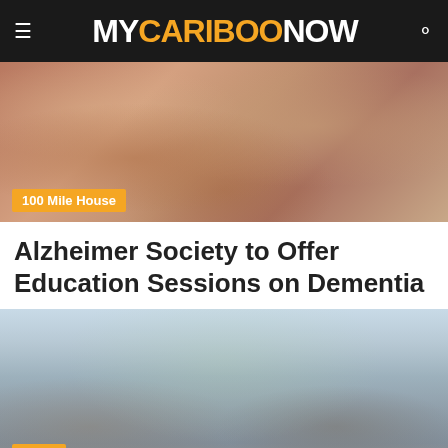MY CARIBOO NOW
[Figure (photo): Close-up photo of hands being held together, suggesting care and support. Badge overlay reads '100 Mile House'.]
Alzheimer Society to Offer Education Sessions on Dementia
[Figure (photo): Street scene with people standing outdoors near buildings and trees. Badge overlay reads 'News'.]